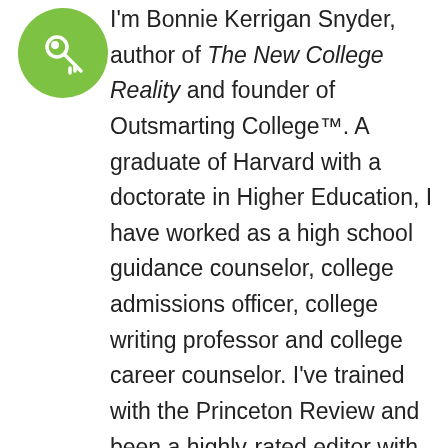[Figure (logo): Green circle logo with a key icon (Outsmarting College brand logo)]
I'm Bonnie Kerrigan Snyder, author of The New College Reality and founder of Outsmarting College™. A graduate of Harvard with a doctorate in Higher Education, I have worked as a high school guidance counselor, college admissions officer, college writing professor and college career counselor. I've trained with the Princeton Review and been a highly-rated editor with EssayEdge. I'm also the parent of a college student and recent college graduate of my own, so this topic is near and dear to my heart. I believe that the college admissions process should be an enjoyable process of self-discovery rather than a stressful competition, and that the